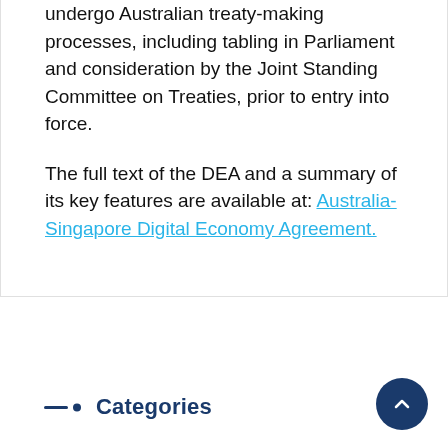undergo Australian treaty-making processes, including tabling in Parliament and consideration by the Joint Standing Committee on Treaties, prior to entry into force.

The full text of the DEA and a summary of its key features are available at: Australia-Singapore Digital Economy Agreement.
Categories